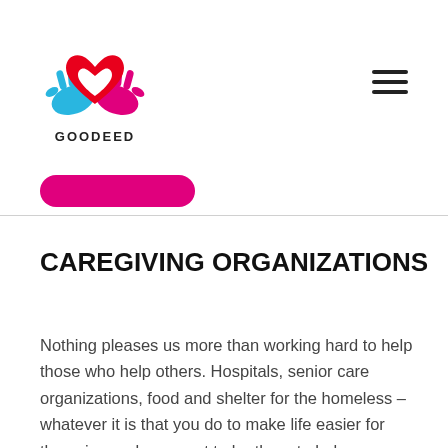[Figure (logo): GOODEED logo: two hands (blue and pink) cradling a red heart with a white heart cutout, above the text GOODEED in bold caps]
[Figure (other): Hamburger menu icon (three horizontal lines) in dark color, top right of header]
[Figure (other): Partially visible magenta/pink pill-shaped button cropped at the dividing line]
CAREGIVING ORGANIZATIONS
Nothing pleases us more than working hard to help those who help others. Hospitals, senior care organizations, food and shelter for the homeless – whatever it is that you do to make life easier for those in need, we want to be there to help you succeed